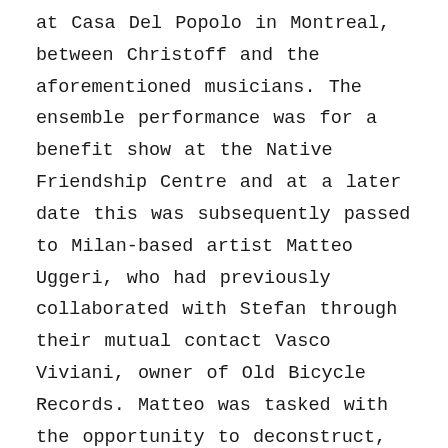at Casa Del Popolo in Montreal, between Christoff and the aforementioned musicians. The ensemble performance was for a benefit show at the Native Friendship Centre and at a later date this was subsequently passed to Milan-based artist Matteo Uggeri, who had previously collaborated with Stefan through their mutual contact Vasco Viviani, owner of Old Bicycle Records. Matteo was tasked with the opportunity to deconstruct, rearrange and rebuild this raw recording as well as to adorn it with additional layers of sounds. Matteo's own